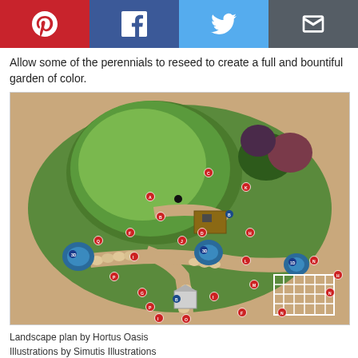[Figure (other): Social sharing bar with Pinterest, Facebook, Twitter, and Email buttons]
Allow some of the perennials to reseed to create a full and bountiful garden of color.
[Figure (map): Illustrated top-down landscape/garden plan showing paths, trees, garden beds, water features, and labeled points (A-T) with red and blue markers. Includes a structure/pergola on the right side.]
Landscape plan by Hortus Oasis
Illustrations by Simutis Illustrations